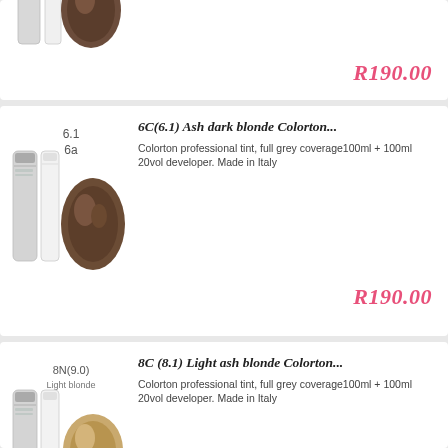[Figure (photo): Hair dye product with tube and hair swatch, partial view at top of page]
R190.00
[Figure (photo): 6C(6.1) Ash dark blonde Colorton product with two tubes and hair swatch showing medium ash brown color, labeled 6.1 and 6a]
6C(6.1) Ash dark blonde Colorton...
Colorton professional tint, full grey coverage100ml + 100ml 20vol developer. Made in Italy
R190.00
[Figure (photo): 8C (8.1) Light ash blonde Colorton product with two tubes and hair swatch, labeled 8N(9.0) Light blonde]
8C (8.1) Light ash blonde Colorton...
Colorton professional tint, full grey coverage100ml + 100ml 20vol developer. Made in Italy